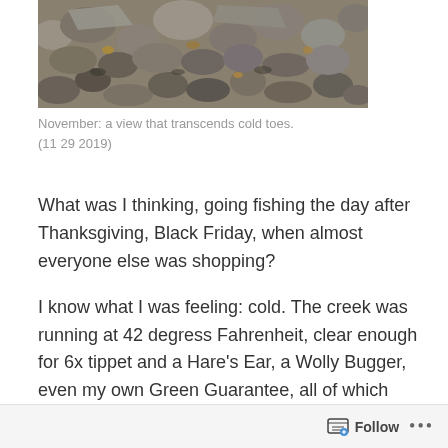[Figure (photo): A photo of rocks and stones on a creek bed or riverbed, taken in November. Gray and brown rocks of various sizes with some fallen leaves visible.]
November: a view that transcends cold toes.
(11 29 2019)
What was I thinking, going fishing the day after Thanksgiving, Black Friday, when almost everyone else was shopping?
I know what I was feeling: cold. The creek was running at 42 degress Fahrenheit, clear enough for 6x tippet and a Hare's Ear, a Wolly Bugger, even my own Green Guarantee, all of which failed to meet a fish.
Follow